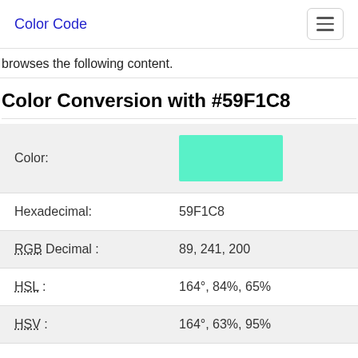Color Code
browses the following content.
Color Conversion with #59F1C8
|  |  |
| --- | --- |
| Color: | [color swatch #59F1C8] |
| Hexadecimal: | 59F1C8 |
| RGB Decimal : | 89, 241, 200 |
| HSL : | 164°, 84%, 65% |
| HSV : | 164°, 63%, 95% |